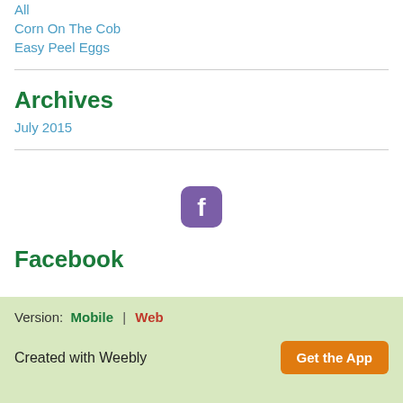All
Corn On The Cob
Easy Peel Eggs
Archives
July 2015
[Figure (logo): Facebook icon — rounded square purple icon with white letter f]
Facebook
Version: Mobile | Web
Created with Weebly
Get the App